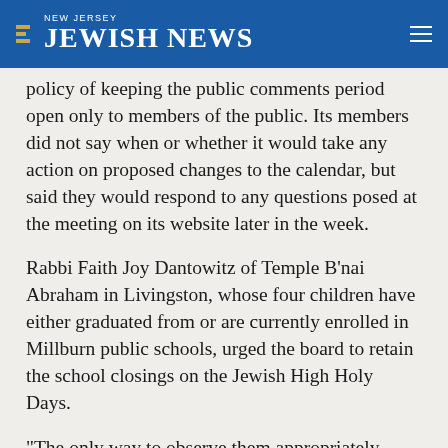NEW JERSEY JEWISH NEWS
policy of keeping the public comments period open only to members of the public. Its members did not say when or whether it would take any action on proposed changes to the calendar, but said they would respond to any questions posed at the meeting on its website later in the week.
Rabbi Faith Joy Dantowitz of Temple B'nai Abraham in Livingston, whose four children have either graduated from or are currently enrolled in Millburn public schools, urged the board to retain the school closings on the Jewish High Holy Days.
“The only way to observe them appropriately restricts one from attending school or work,” she